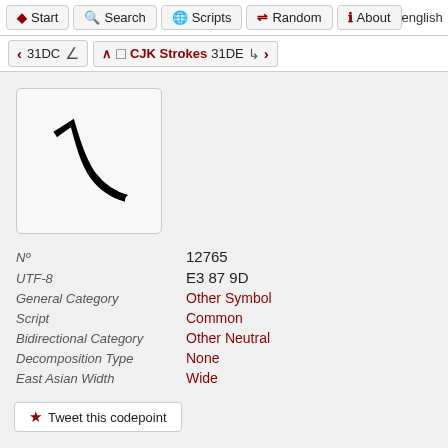Start  Search  Scripts  Random  About  english
< 31DC ∠ ^ □ CJK Strokes 31DE ↳ >
[Figure (other): A large CJK stroke symbol — a tall black rectangle outline (CJK stroke character U+31DD) displayed in a light gray rounded box.]
| Nº | 12765 |
| UTF-8 | E3 87 9D |
| General Category | Other Symbol |
| Script | Common |
| Bidirectional Category | Other Neutral |
| Decomposition Type | None |
| East Asian Width | Wide |
★ Tweet this codepoint